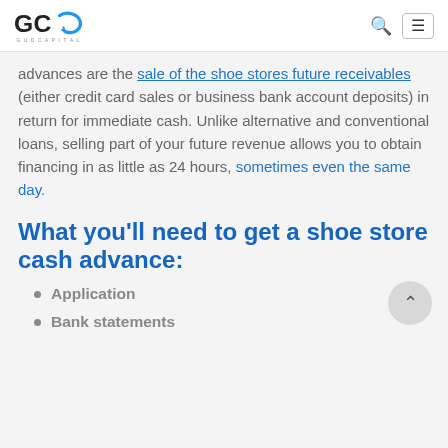GUD Capital logo, search icon, menu button
advances are the sale of the shoe stores future receivables (either credit card sales or business bank account deposits) in return for immediate cash. Unlike alternative and conventional loans, selling part of your future revenue allows you to obtain financing in as little as 24 hours, sometimes even the same day.
What you'll need to get a shoe store cash advance:
Application
Bank statements